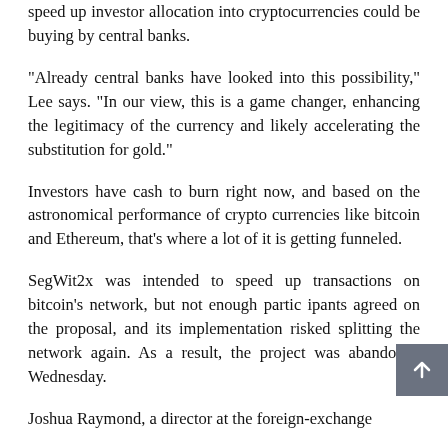speed up investor allocation into cryptocurrencies could be buying by central banks.
“Already central banks have looked into this possibility,” Lee says. “In our view, this is a game changer, enhancing the legitimacy of the currency and likely accelerating the substitution for gold.”
Investors have cash to burn right now, and based on the astronomical performance of crypto currencies like bitcoin and Ethereum, that’s where a lot of it is getting funneled.
SegWit2x was intended to speed up transactions on bitcoin’s network, but not enough partic ipants agreed on the proposal, and its implementation risked splitting the network again. As a result, the project was abandoned Wednesday.
Joshua Raymond, a director at the foreign-exchange